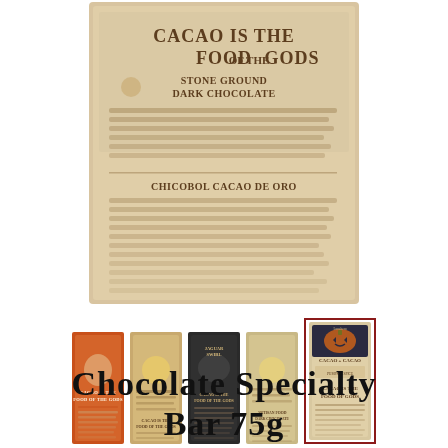[Figure (photo): Close-up of a chocolate specialty bar package with kraft paper background. Text reads 'CACAO IS THE FOOD OF THE GODS', 'STONE GROUND DARK CHOCOLATE', followed by blurred descriptive text and 'CHICOBOL CACAO DE ORO' section.]
[Figure (photo): Row of five chocolate bar product thumbnails. From left: orange-labeled bar, tan/kraft bar, dark-labeled bar with jaguar, light kraft bar, and the currently selected bar (highlighted with dark red border) featuring a pumpkin design.]
Chocolate Specialty Bar 75g